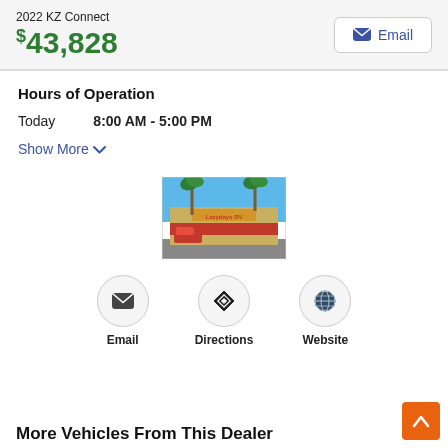2022 KZ Connect
$43,828
Email
Hours of Operation
Today  8:00 AM - 5:00 PM
Show More
[Figure (photo): Exterior photo of Lazydays RV dealership building with palm trees and blue sky]
Email  Directions  Website
More Vehicles From This Dealer